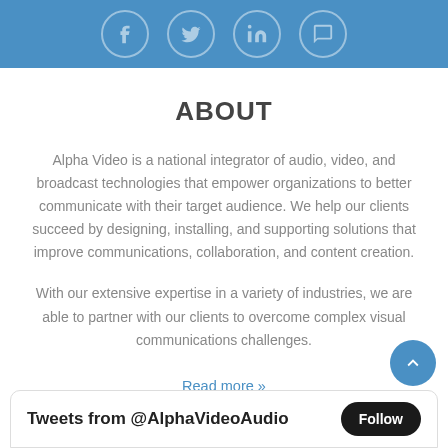[Figure (other): Header bar with social media icons: Facebook, Twitter, LinkedIn, and a fourth icon (possibly Snapchat/message)]
ABOUT
Alpha Video is a national integrator of audio, video, and broadcast technologies that empower organizations to better communicate with their target audience. We help our clients succeed by designing, installing, and supporting solutions that improve communications, collaboration, and content creation.
With our extensive expertise in a variety of industries, we are able to partner with our clients to overcome complex visual communications challenges.
Read more »
Tweets from @AlphaVideoAudio   Follow